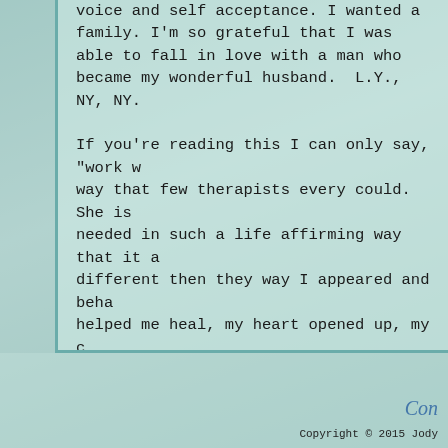voice and self acceptance. I wanted a family. I'm so grateful that I was able to fall in love with a man who became my wonderful husband.  L.Y., NY, NY.
If you're reading this I can only say, "work w... way that few therapists every could.  She is ... needed in such a life affirming way that it a... different then they way I appeared and beha... helped me heal, my heart opened up, my c... and found a great deal of joy in my daily liv...
Con
Copyright © 2015 Jody...